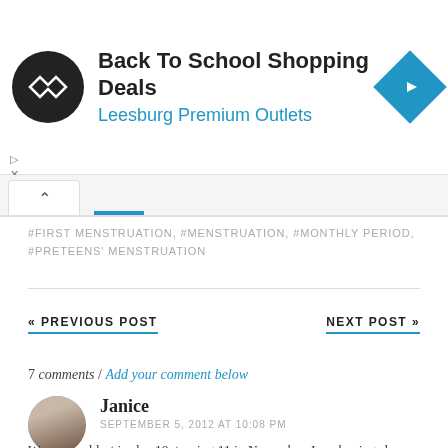[Figure (infographic): Advertisement banner: Back To School Shopping Deals at Leesburg Premium Outlets, with logo and navigation icon]
#FIRST MENSTRUATION, #MENSTRUATION, #MONTHLY PERIOD, #PRETEENS' MENSTRUATION
« PREVIOUS POST
NEXT POST »
7 comments / Add your comment below
Janice
SEPTEMBER 5, 2012 AT 10:08 PM
Wow, my eldest is also 10, turning 11 in November. I am hoping she won't get